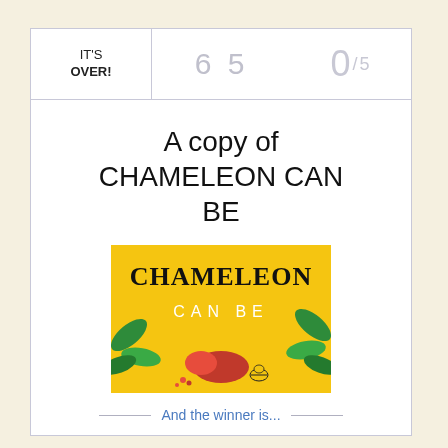| IT'S OVER! | 6 5 | 0/5 |
| --- | --- | --- |
A copy of CHAMELEON CAN BE
[Figure (illustration): Book cover of 'Chameleon Can Be' with yellow background, bold black text 'CHAMELEON' at top, white text 'CAN BE' below, with decorative leaves and chameleon illustration]
And the winner is...